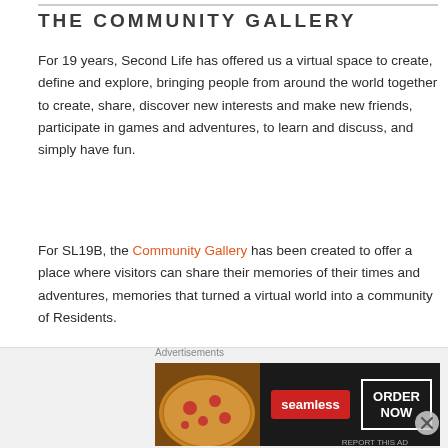THE COMMUNITY GALLERY
For 19 years, Second Life has offered us a virtual space to create, define and explore, bringing people from around the world together to create, share, discover new interests and make new friends, participate in games and adventures, to learn and discuss, and simply have fun.
For SL19B, the Community Gallery has been created to offer a place where visitors can share their memories of their times and adventures, memories that turned a virtual world into a community of Residents.
POD TOURS
[Figure (screenshot): Advertisement banner for Seamless food delivery service, showing pizza image on left, Seamless red logo in center, and ORDER NOW button on right, against a dark background.]